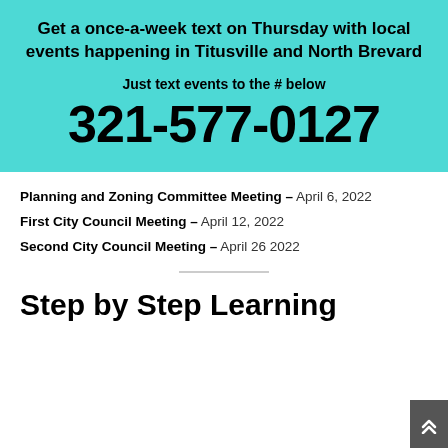[Figure (infographic): Teal/cyan background promotional box with bold text: 'Get a once-a-week text on Thursday with local events happening in Titusville and North Brevard', 'Just text events to the # below', and large phone number '321-577-0127']
Planning and Zoning Committee Meeting – April 6, 2022
First City Council Meeting – April 12, 2022
Second City Council Meeting – April 26 2022
Step by Step Learning